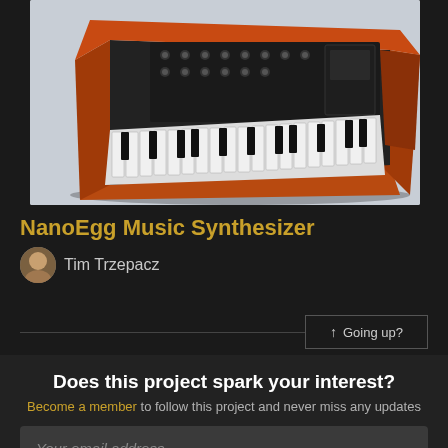[Figure (photo): 3D render of a NanoEgg Music Synthesizer — an orange/wood-framed mini synthesizer with piano keys and black control panels, shown at an angle on a light grey background.]
NanoEgg Music Synthesizer
Tim Trzepacz
↑ Going up?
Does this project spark your interest?
Become a member to follow this project and never miss any updates
Your email address